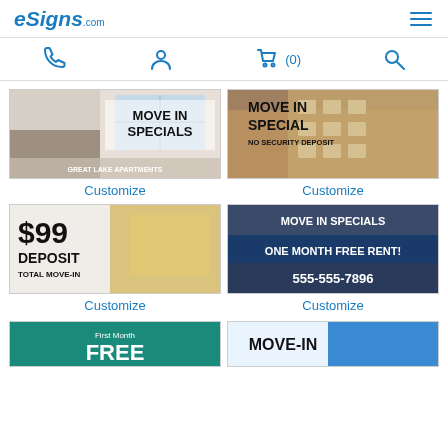eSigns.com
[Figure (screenshot): Navigation bar with phone, user, cart (0), and search icons in blue]
[Figure (photo): Move In Specials - Great Lake Apartments banner sign]
Customize
[Figure (photo): Move In Special No Security Deposit banner with apartment building]
Customize
[Figure (photo): $99 Deposit Total Move-In banner sign with apartment building]
Customize
[Figure (photo): Move In Specials One Month Free Rent! 555-555-7896 banner]
Customize
[Figure (photo): First Month Free banner (partial, teal background)]
[Figure (photo): Move-In banner (partial, blue background)]